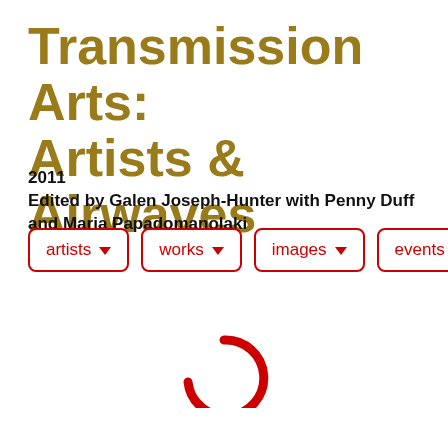Transmission Arts: Artists & Airwaves
2011
Edited by Galen Joseph-Hunter with Penny Duff and Maria Papadomanolaki
[Figure (infographic): Navigation row with four dropdown buttons labeled: artists, works, images, events. Each button has a red border, red text, and a red downward arrow.]
[Figure (infographic): Red circular loading spinner (partial circle arc, bottom open), indicating content is loading.]